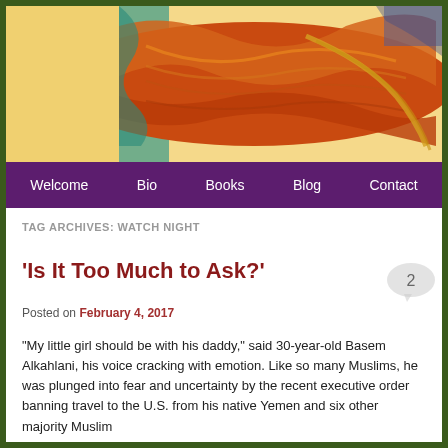[Figure (illustration): Colorful abstract/painted image of what appears to be a fish or bird rendered in oranges, reds, and greens with yellow background banner]
Welcome  Bio  Books  Blog  Contact
TAG ARCHIVES: WATCH NIGHT
'Is It Too Much to Ask?'
Posted on February 4, 2017
“My little girl should be with his daddy,” said 30-year-old Basem Alkahlani, his voice cracking with emotion. Like so many Muslims, he was plunged into fear and uncertainty by the recent executive order banning travel to the U.S. from his native Yemen and six other majority Muslim